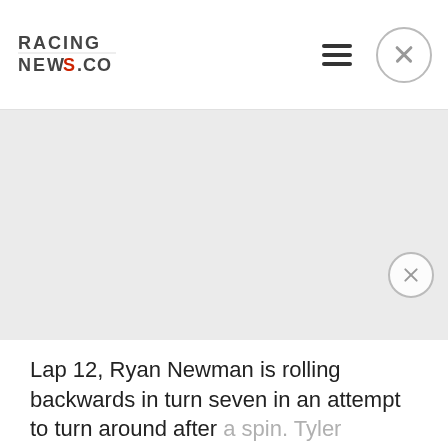RACING NEWS.CO
[Figure (photo): Gray placeholder image area, likely a racing photo]
Lap 12, Ryan Newman is rolling backwards in turn seven in an attempt to turn around after a spin. Tyler Reddick comes around the blind corner and makes nose to nose contact. The track is blocked and Denny Hamlin, Bubba